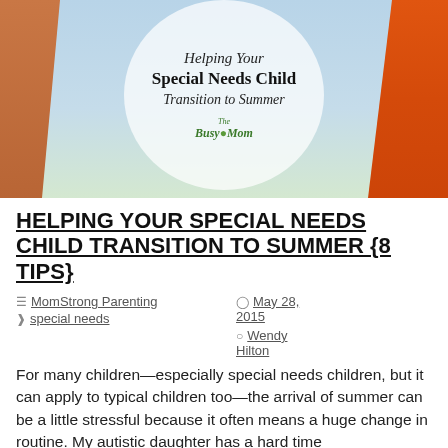[Figure (illustration): Blog post header image showing two hands being held (one in an orange sleeve, one with a tan/brown arm) against a beach/sky background, with a white semi-transparent circle containing the text 'Helping Your Special Needs Child Transition to Summer' and The Busy Mom logo]
HELPING YOUR SPECIAL NEEDS CHILD TRANSITION TO SUMMER {8 TIPS}
MomStrong Parenting   May 28, 2015   special needs   Wendy Hilton
For many children—especially special needs children, but it can apply to typical children too—the arrival of summer can be a little stressful because it often means a huge change in routine. My autistic daughter has a hard time